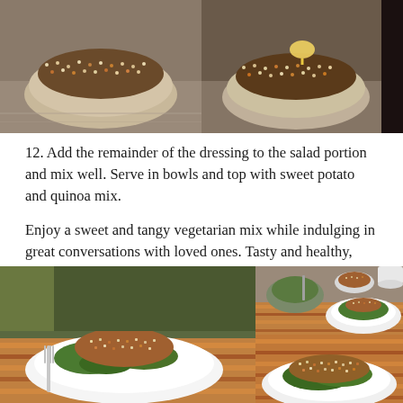[Figure (photo): Two side-by-side photos of glass bowls containing sweet potato and quinoa mix on a granite counter. The right photo shows butter or dressing being added to the bowl.]
12. Add the remainder of the dressing to the salad portion and mix well.  Serve  in bowls and top with sweet potato and quinoa mix.
Enjoy a sweet and tangy vegetarian mix while indulging in great conversations with loved ones. Tasty and healthy, such a win, win!
[Figure (photo): Three food photos: a large main photo of a white plate with green salad topped with quinoa and sweet potato mix, a fork resting on the plate, with a quinoa bowl in the background; top-right smaller photo of table set with a bowl of herb sauce, white plate with salad, and a white cup; bottom-right smaller photo of a close-up of a white plate with salad and quinoa mix on a plaid tablecloth.]